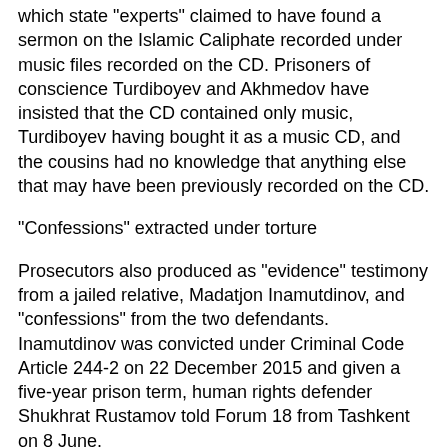which state "experts" claimed to have found a sermon on the Islamic Caliphate recorded under music files recorded on the CD. Prisoners of conscience Turdiboyev and Akhmedov have insisted that the CD contained only music, Turdiboyev having bought it as a music CD, and the cousins had no knowledge that anything else that may have been previously recorded on the CD.
"Confessions" extracted under torture
Prosecutors also produced as "evidence" testimony from a jailed relative, Madatjon Inamutdinov, and "confessions" from the two defendants. Inamutdinov was convicted under Criminal Code Article 244-2 on 22 December 2015 and given a five-year prison term, human rights defender Shukhrat Rustamov told Forum 18 from Tashkent on 8 June.
Human rights defender Rustamov represented Turdiboyev and Akhmedov in court as part of the defence team, with a defence lawyer. He insisted that the "confessions" were obtained through torture and